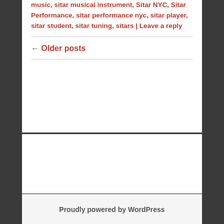music, sitar musical instrument, Sitar NYC, Sitar Performance, sitar performance nyc, sitar player, sitar student, sitar tuning, sitars | Leave a reply
← Older posts
Proudly powered by WordPress